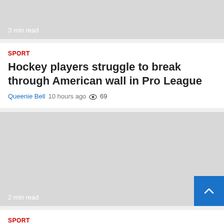[Figure (photo): Gray image placeholder with '3 min read' label, partially cropped at top]
SPORT
Hockey players struggle to break through American wall in Pro League
Queenie Bell  10 hours ago  👁 69
[Figure (photo): Gray image placeholder with '2 min read' label and blue back-to-top button]
SPORT
Zevenkampster Oosterwegel retires after a fall